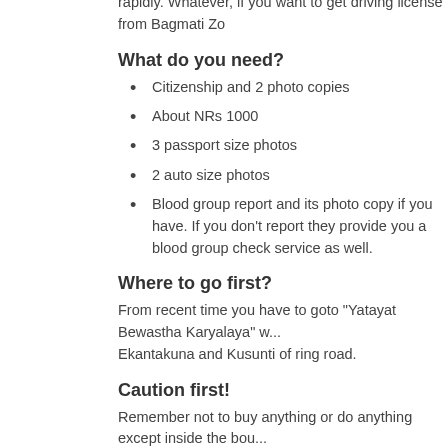rapidly. Whatever, if you want to get driving license from Bagmati Zo
What do you need?
Citizenship and 2 photo copies
About NRs 1000
3 passport size photos
2 auto size photos
Blood group report and its photo copy if you have. If you don't report they provide you a blood group check service as well.
Where to go first?
From recent time you have to goto "Yatayat Bewastha Karyalaya" w... Ekantakuna and Kusunti of ring road.
Caution first!
Remember not to buy anything or do anything except inside the bou... are bunch of thugs everywhere! I wonder its not only about a hundre... have employed but hundreds of more have been unofficially employ... from the office.
Day One!
There as two gates, take to one which leads to new building...